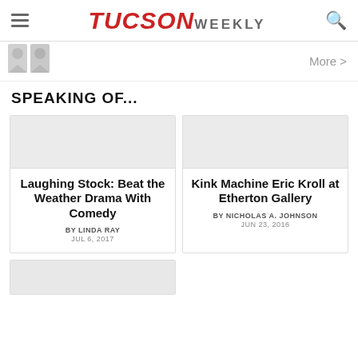TUCSON WEEKLY
[Figure (illustration): Gray placeholder profile silhouette icon]
More >
SPEAKING OF...
Laughing Stock: Beat the Weather Drama With Comedy
BY LINDA RAY
JUL 6, 2017
Kink Machine Eric Kroll at Etherton Gallery
BY NICHOLAS A. JOHNSON
JUN 23, 2016
[Figure (photo): Partial card with gray image placeholder at bottom of page]